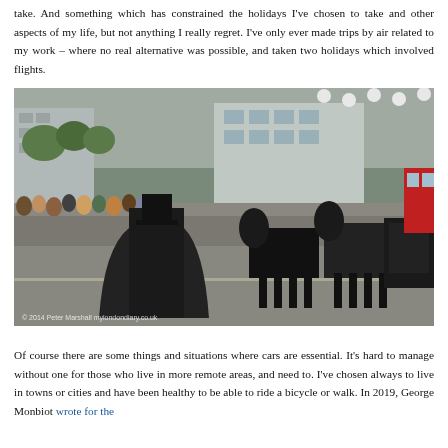take. And something which has constrained the holidays I've chosen to take and other aspects of my life, but not anything I really regret. I've only ever made trips by air related to my work – where no real alternative was possible, and taken two holidays which involved flights.
[Figure (photo): A funeral procession on a city street. A man in a black top hat and long black coat walks in front of two large black horses pulling a hearse carriage. Crowds of onlookers line the street behind barriers. Buildings and trees are visible in the background. A red double-decker bus is partially visible on the right.]
© 2014 Peter Marshall mylondondiary.co.uk
Of course there are some things and situations where cars are essential. It's hard to manage without one for those who live in more remote areas, and need to. I've chosen always to live in towns or cities and have been healthy to be able to ride a bicycle or walk. In 2019, George Monbiot wrote for the